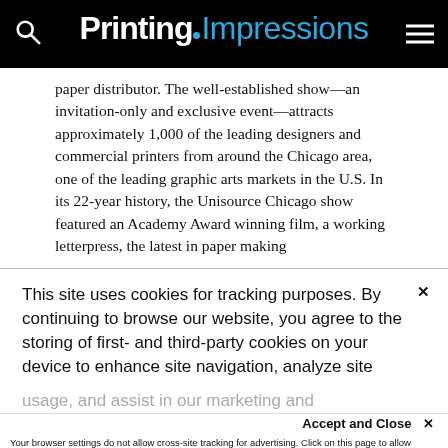Printing Impressions
paper distributor. The well-established show—an invitation-only and exclusive event—attracts approximately 1,000 of the leading designers and commercial printers from around the Chicago area, one of the leading graphic arts markets in the U.S. In its 22-year history, the Unisource Chicago show featured an Academy Award winning film, a working letterpress, the latest in paper making
This site uses cookies for tracking purposes. By continuing to browse our website, you agree to the storing of first- and third-party cookies on your device to enhance site navigation, analyze site
usage, and assist in our marketing and
Accept and Close ✕
Your browser settings do not allow cross-site tracking for advertising. Click on this page to allow AdRoll to use cross-site tracking to tailor ads to you. Learn more or opt out of this AdRoll tracking by clicking here. This message only appears once.